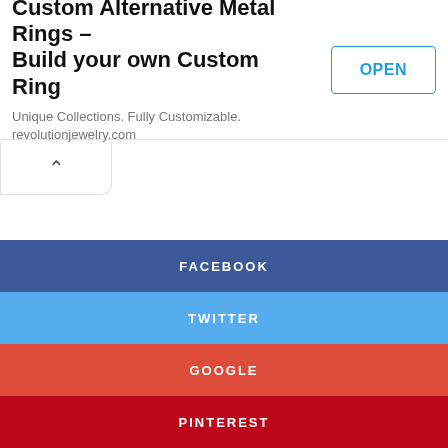[Figure (screenshot): Mobile app advertisement banner for Custom Alternative Metal Rings – Build your own Custom Ring. Shows title text, subtitle 'Unique Collections. Fully Customizable. revolutionjewelry.com', and an OPEN button.]
[Figure (screenshot): Collapse/chevron up button below the ad banner, indicating the ad can be minimized.]
FACEBOOK
TWITTER
GOOGLE
PINTEREST